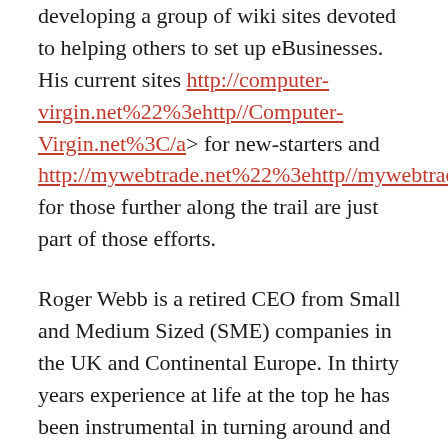developing a group of wiki sites devoted to helping others to set up eBusinesses. His current sites http://computer-virgin.net%22%3ehttp//Computer-Virgin.net%3C/a> for new-starters and http://mywebtrade.net%22%3ehttp//mywebtrade.net%3C/a> for those further along the trail are just part of those efforts.
Roger Webb is a retired CEO from Small and Medium Sized (SME) companies in the UK and Continental Europe. In thirty years experience at life at the top he has been instrumental in turning around and setting up a number of specialist subsidiaries in Europe, Africa and beyond, in every case producing stable profits in some of the most testing corporate environments imaginable.